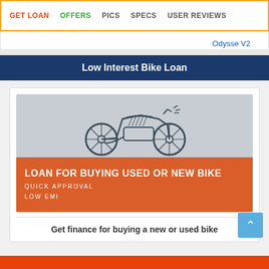GET LOAN   OFFERS   PICS   SPECS   USER REVIEWS
Odysse V2
Low Interest Bike Loan
[Figure (illustration): Advertisement banner for bike loan. Top half: gray background with line-art illustration of a motorcycle. Bottom half: orange/red background with text 'LOAN FOR BUYING USED OR NEW BIKE', 'QUICK APPROVAL', 'LOW EMI']
Get finance for buying a new or used bike